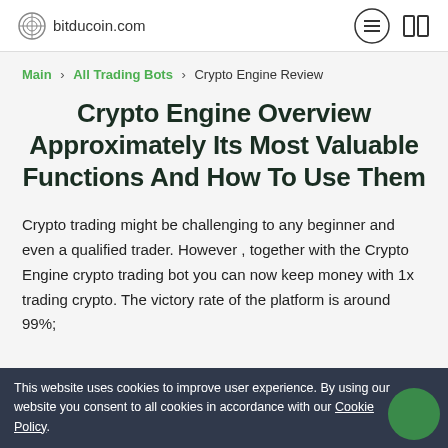bitducoin.com
Main > All Trading Bots > Crypto Engine Review
Crypto Engine Overview Approximately Its Most Valuable Functions And How To Use Them
Crypto trading might be challenging to any beginner and even a qualified trader. However , together with the Crypto Engine crypto trading bot you can now keep money with 1x trading crypto. The victory rate of the platform is around 99%;
This website uses cookies to improve user experience. By using our website you consent to all cookies in accordance with our Cookie Policy.